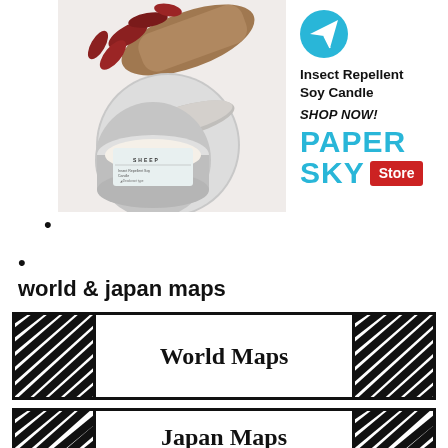[Figure (photo): Photo of a soy candle tin (SHEEP brand) with red dried flowers and wood on a white background]
[Figure (infographic): Advertisement for Paper Sky Store - Insect Repellent Soy Candle with paper airplane icon, SHOP NOW text, and PAPER SKY Store logo in cyan and red]
•
•
world & japan maps
[Figure (other): World Maps banner with diagonal stripe hatching on sides]
[Figure (other): Japan Maps banner with diagonal stripe hatching on sides (partially visible)]